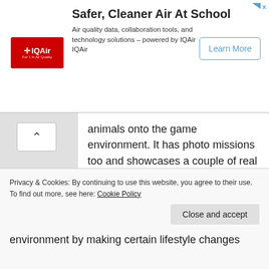[Figure (screenshot): IQAir advertisement banner with logo, title 'Safer, Cleaner Air At School', body text about air quality data and collaboration tools, and a 'Learn More' button]
animals onto the game environment. It has photo missions too and showcases a couple of real animal video clips. The game provides kids a chance to help their wild animal friends complete daily activities.
A novel and innovative method of teaching kids about environmental conservation is to include them in day to day activities at home.
Set an example of how you, as a parent and
Privacy & Cookies: By continuing to use this website, you agree to their use.
To find out more, see here: Cookie Policy
environment by making certain lifestyle changes